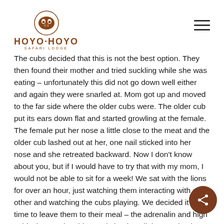[Figure (logo): Hoyo-Hoyo Safari Lodge logo with circular emblem and text]
The cubs decided that this is not the best option. They then found their mother and tried suckling while she was eating – unfortunately this did not go down well either and again they were snarled at. Mom got up and moved to the far side where the older cubs were. The older cub put its ears down flat and started growling at the female. The female put her nose a little close to the meat and the older cub lashed out at her, one nail sticked into her nose and she retreated backward. Now I don't know about you, but if I would have to try that with my mom, I would not be able to sit for a week! We sat with the lions for over an hour, just watching them interacting with each other and watching the cubs playing. We decided it was time to leave them to their meal – the adrenalin and high spirits kept us laughing and chatting all the way back to the staff village – this was a birthday I will never forget...